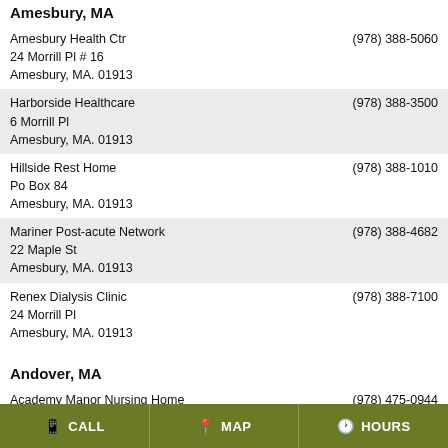Amesbury, MA
| Name/Address | Phone |
| --- | --- |
| Amesbury Health Ctr
24 Morrill Pl # 16
Amesbury, MA. 01913 | (978) 388-5060 |
| Harborside Healthcare
6 Morrill Pl
Amesbury, MA. 01913 | (978) 388-3500 |
| Hillside Rest Home
Po Box 84
Amesbury, MA. 01913 | (978) 388-1010 |
| Mariner Post-acute Network
22 Maple St
Amesbury, MA. 01913 | (978) 388-4682 |
| Renex Dialysis Clinic
24 Morrill Pl
Amesbury, MA. 01913 | (978) 388-7100 |
Andover, MA
| Name/Address | Phone |
| --- | --- |
| Academy Manor Nursing Home
89 Morton St | (978) 475-0944 |
CALL   MAP   HOURS